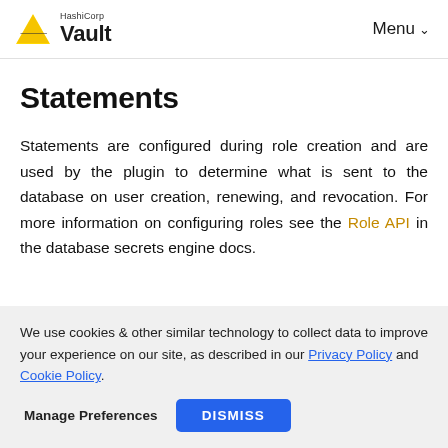HashiCorp Vault — Menu
Statements
Statements are configured during role creation and are used by the plugin to determine what is sent to the database on user creation, renewing, and revocation. For more information on configuring roles see the Role API in the database secrets engine docs.
We use cookies & other similar technology to collect data to improve your experience on our site, as described in our Privacy Policy and Cookie Policy.
Manage Preferences   DISMISS